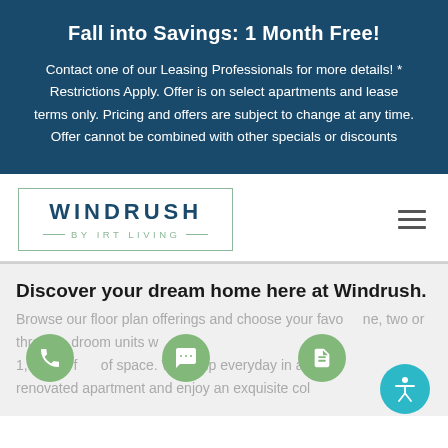Fall into Savings: 1 Month Free!
Contact one of our Leasing Professionals for more details! * Restrictions Apply. Offer is on select apartments and lease terms only. Pricing and offers are subject to change at any time. Offer cannot be combined with other specials or discounts
[Figure (logo): Windrush by IRT Living logo with green border box and teal/navy text]
[Figure (infographic): Hamburger menu icon (three horizontal lines)]
Discover your dream home here at Windrush.
Browse our floor plan offerings and choose your favorite one, two or three bedroom units with up to 1,130 sq feet of space. Wake up everyday in a newly renovated apartment and enjoy an exquisite collection of
[Figure (infographic): Three green circular icon buttons: phone, chat, and document/list icons, plus a teal accessibility icon in bottom right]